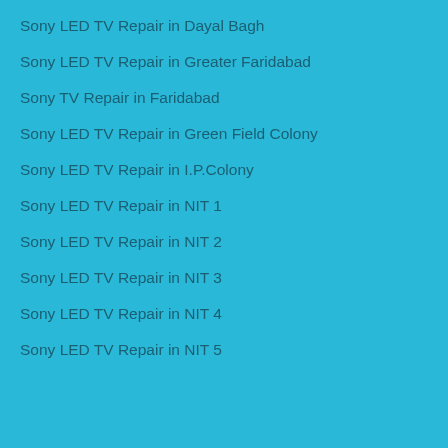Sony LED TV Repair in Dayal Bagh
Sony LED TV Repair in Greater Faridabad
Sony TV Repair in Faridabad
Sony LED TV Repair in Green Field Colony
Sony LED TV Repair in I.P.Colony
Sony LED TV Repair in NIT 1
Sony LED TV Repair in NIT 2
Sony LED TV Repair in NIT 3
Sony LED TV Repair in NIT 4
Sony LED TV Repair in NIT 5